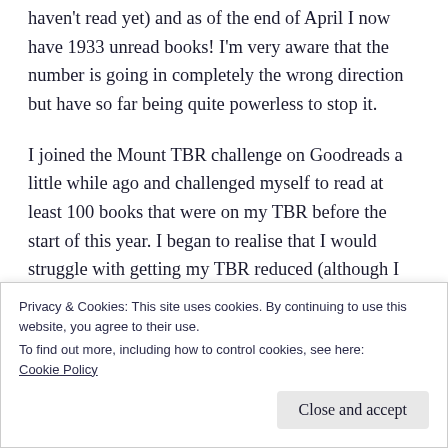haven't read yet) and as of the end of April I now have 1933 unread books! I'm very aware that the number is going in completely the wrong direction but have so far being quite powerless to stop it.
I joined the Mount TBR challenge on Goodreads a little while ago and challenged myself to read at least 100 books that were on my TBR before the start of this year. I began to realise that I would struggle with getting my TBR reduced (although I am still trying to work on that) so am now trying to at least make sure that I'm reading a similar number of books I've owned a while to the
Privacy & Cookies: This site uses cookies. By continuing to use this website, you agree to their use.
To find out more, including how to control cookies, see here: Cookie Policy
Close and accept